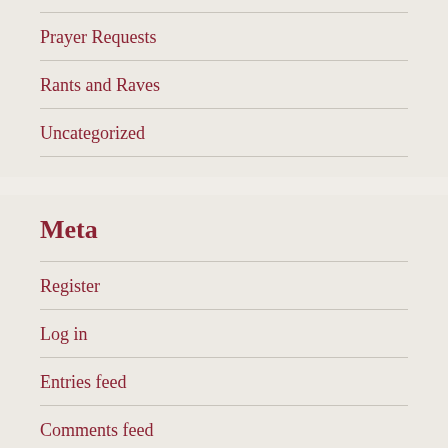Prayer Requests
Rants and Raves
Uncategorized
Meta
Register
Log in
Entries feed
Comments feed
WordPress.com